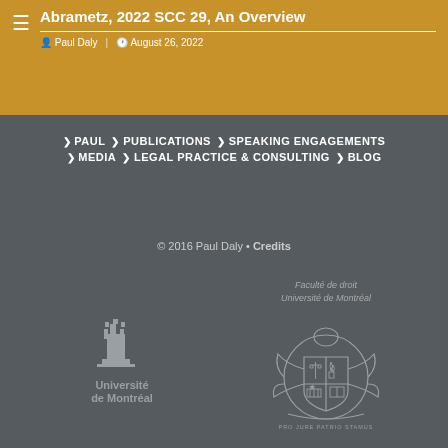Abrametz, 2022 SCC 29, An Overview
Paul Daly  |  August 26, 2022
› PAUL  › PUBLICATIONS  › SPEAKING ENGAGEMENTS  › MEDIA  › LEGAL PRACTICE & CONSULTING  › BLOG
© 2016 Paul Daly • Credits
[Figure (logo): Université de Montréal logo with building/tower icon and text]
[Figure (logo): Faculté de droit Université de Montréal coat of arms / crest logo with PRO JURE PATRIO STAMUS motto]